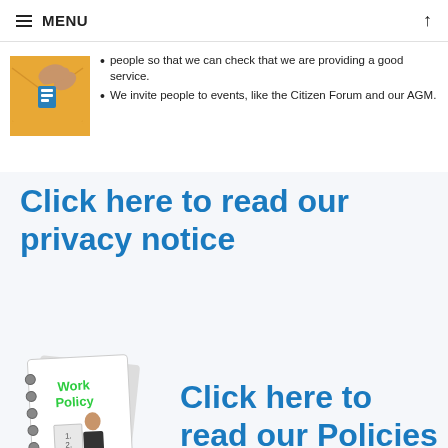MENU
people so that we can check that we are providing a good service.
We invite people to events, like the Citizen Forum and our AGM.
Click here to read our privacy notice
[Figure (illustration): Work Policy book with a person writing on a board]
Click here to read our Policies